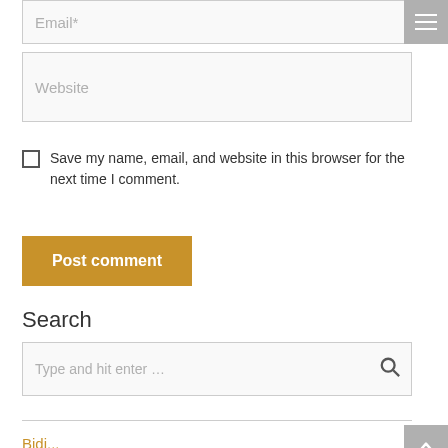[Figure (screenshot): Email input field placeholder with gray border]
[Figure (screenshot): Menu hamburger button with three horizontal lines on gray background]
[Figure (screenshot): Website input field placeholder with gray border]
Save my name, email, and website in this browser for the next time I comment.
[Figure (screenshot): Post comment button in golden/amber color]
Search
[Figure (screenshot): Search input field with placeholder text 'Type and hit enter ...' and search icon]
[Figure (screenshot): Scroll to top button with upward arrow on gray background]
Bidi...